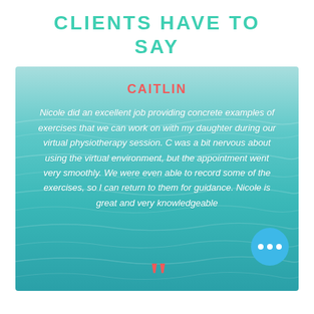CLIENTS HAVE TO SAY
[Figure (infographic): Testimonial card with ocean/water background image, client name CAITLIN in red, italic white quote text about virtual physiotherapy session, blue circle button with three dots, and red closing quotation marks at bottom.]